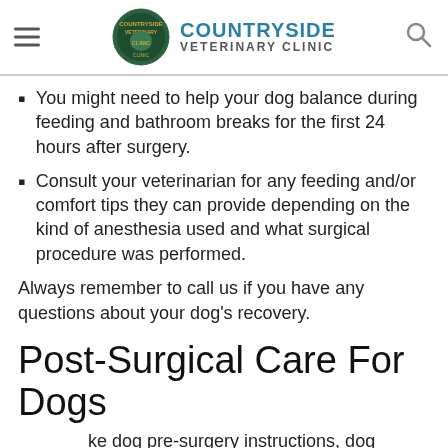COUNTRYSIDE VETERINARY CLINIC
You might need to help your dog balance during feeding and bathroom breaks for the first 24 hours after surgery.
Consult your veterinarian for any feeding and/or comfort tips they can provide depending on the kind of anesthesia used and what surgical procedure was performed.
Always remember to call us if you have any questions about your dog's recovery.
Post-Surgical Care For Dogs
Just like dog pre-surgery instructions, dog surgery recovery protocols and care vary depending on the